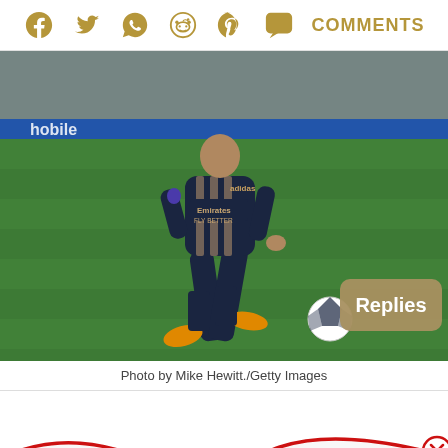Social share icons: Facebook, Twitter, WhatsApp, Reddit, Pinterest, Comments button with label COMMENTS
[Figure (photo): Arsenal footballer in dark navy Emirates Fly Better kit with orange boots dribbling a Premier League ball on a green pitch, stadium advertising hoardings visible in background. Replies button overlay bottom right.]
Photo by Mike Hewitt./Getty Images
[Figure (other): White section with red wavy line at bottom and a red circle with X close button at bottom right]